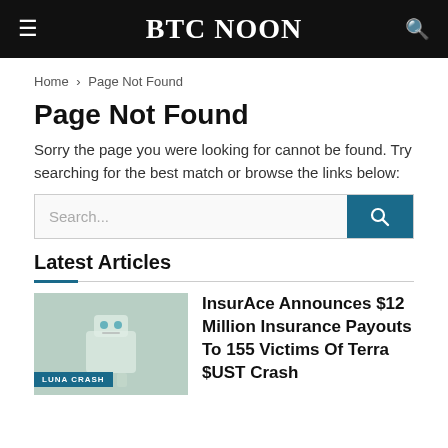BTC NOON
Home › Page Not Found
Page Not Found
Sorry the page you were looking for cannot be found. Try searching for the best match or browse the links below:
Latest Articles
[Figure (illustration): Thumbnail image with LUNA CRASH label badge, showing a stylized robot/computer graphic on a teal-green background]
InsurAce Announces $12 Million Insurance Payouts To 155 Victims Of Terra $UST Crash